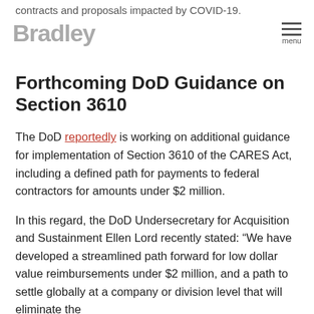contracts and proposals impacted by COVID-19.
[Figure (logo): Bradley law firm logo in gray]
Forthcoming DoD Guidance on Section 3610
The DoD reportedly is working on additional guidance for implementation of Section 3610 of the CARES Act, including a defined path for payments to federal contractors for amounts under $2 million.
In this regard, the DoD Undersecretary for Acquisition and Sustainment Ellen Lord recently stated: “We have developed a streamlined path forward for low dollar value reimbursements under $2 million, and a path to settle globally at a company or division level that will eliminate the